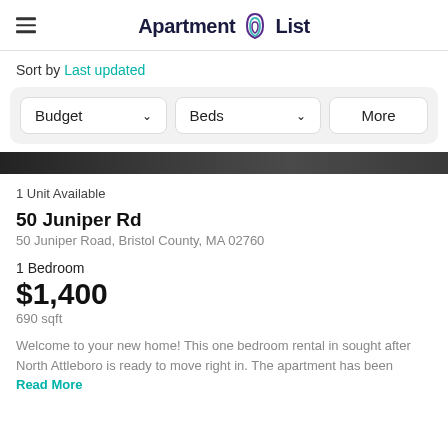Apartment List
Sort by Last updated
[Figure (screenshot): Filter bar with Budget, Beds, and More dropdown buttons on a light grey background]
[Figure (photo): Dark partial image strip of an apartment property]
1 Unit Available
50 Juniper Rd
50 Juniper Road, Bristol County, MA 02760
1 Bedroom
$1,400
690 sqft
Welcome to your new home! This one bedroom rental in sought after North Attleboro is ready to move right in. The apartment has been Read More